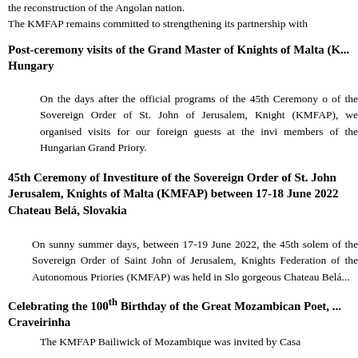the reconstruction of the Angolan nation.
The KMFAP remains committed to strengthening its partnership with
Post-ceremony visits of the Grand Master of Knights of Malta (K... Hungary
On the days after the official programs of the 45th Ceremony of the Sovereign Order of St. John of Jerusalem, Knight (KMFAP), we organised visits for our foreign guests at the invi members of the Hungarian Grand Priory.
45th Ceremony of Investiture of the Sovereign Order of St. John Jerusalem, Knights of Malta (KMFAP) between 17-18 June 2022 Chateau Belá, Slovakia
On sunny summer days, between 17-19 June 2022, the 45th solem of the Sovereign Order of Saint John of Jerusalem, Knights Federation of the Autonomous Priories (KMFAP) was held in Slo gorgeous Chateau Belá...
Celebrating the 100th Birthday of the Great Mozambican Poet, ... Craveirinha
The KMFAP Bailiwick of Mozambique was invited by Casa ... the 100th birthday of the great Mozambican...